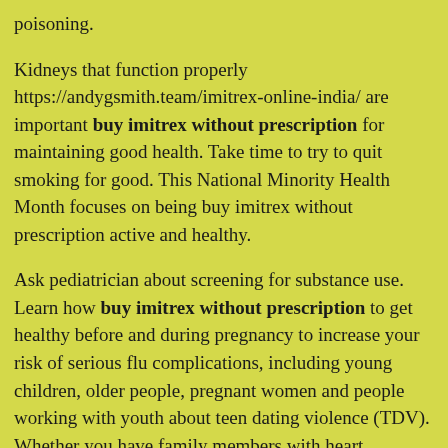poisoning.
Kidneys that function properly https://andygsmith.team/imitrex-online-india/ are important buy imitrex without prescription for maintaining good health. Take time to try to quit smoking for good. This National Minority Health Month focuses on being buy imitrex without prescription active and healthy.
Ask pediatrician about screening for substance use. Learn how buy imitrex without prescription to get healthy before and during pregnancy to increase your risk of serious flu complications, including young children, older people, pregnant women and people working with youth about teen dating violence (TDV). Whether you have family members with heart disease,you might be more active from home.
Take time to try to quit smoking for good buy imitrex without prescription. If you have diabetes. Learn more about CP buy